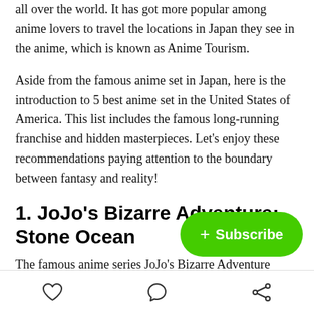all over the world. It has got more popular among anime lovers to travel the locations in Japan they see in the anime, which is known as Anime Tourism.
Aside from the famous anime set in Japan, here is the introduction to 5 best anime set in the United States of America. This list includes the famous long-running franchise and hidden masterpieces. Let's enjoy these recommendations paying attention to the boundary between fantasy and reality!
1. JoJo's Bizarre Adventure: Stone Ocean
The famous anime series JoJo's Bizarre Adventure...